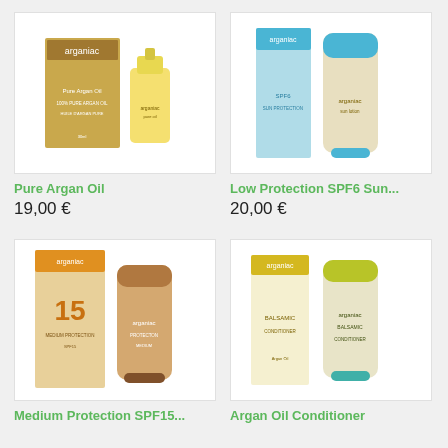[Figure (photo): Pure Argan Oil product photo showing a box and small bottle]
Pure Argan Oil
19,00 €
[Figure (photo): Low Protection SPF6 Sun... product photo showing a box and tube]
Low Protection SPF6 Sun...
20,00 €
[Figure (photo): Medium Protection SPF15... product photo showing a box with 15 and a tube]
Medium Protection SPF15...
[Figure (photo): Argan Oil Conditioner product photo showing a box and tube]
Argan Oil Conditioner